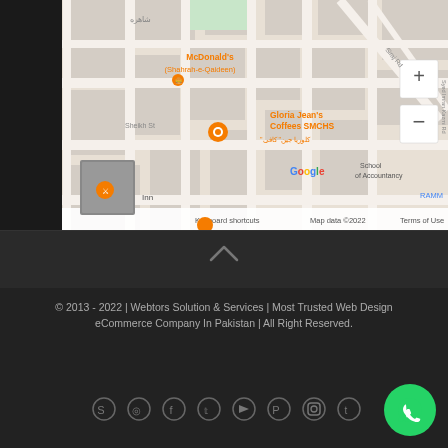[Figure (map): Google Maps showing area around SMCHS, Karachi, Pakistan. Shows McDonald's (Shahrah-e-Qaideen), Gloria Jean's Coffees SMCHS, School of Accountancy, Sheikh St, Siraj Rd, Syed Imran Kazmi Rd. Map data ©2022.]
© 2013 - 2022 | Webtors Solution & Services | Most Trusted Web Design eCommerce Company In Pakistan | All Right Reserved.
[Figure (infographic): Social media icons row: Skype, WhatsApp, Facebook, Twitter, YouTube/Play, Pinterest, Instagram, Tumblr]
[Figure (logo): Green WhatsApp floating button with phone icon]